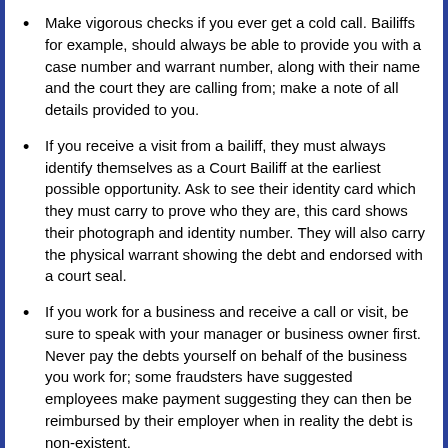Make vigorous checks if you ever get a cold call. Bailiffs for example, should always be able to provide you with a case number and warrant number, along with their name and the court they are calling from; make a note of all details provided to you.
If you receive a visit from a bailiff, they must always identify themselves as a Court Bailiff at the earliest possible opportunity. Ask to see their identity card which they must carry to prove who they are, this card shows their photograph and identity number. They will also carry the physical warrant showing the debt and endorsed with a court seal.
If you work for a business and receive a call or visit, be sure to speak with your manager or business owner first. Never pay the debts yourself on behalf of the business you work for; some fraudsters have suggested employees make payment suggesting they can then be reimbursed by their employer when in reality the debt is non-existent.
Exercise caution believing someone is genuine because you've found something on the internet; fraudsters could